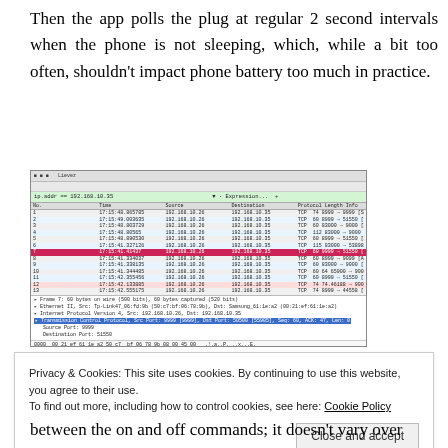Then the app polls the plug at regular 2 second intervals when the phone is not sleeping, which, while a bit too often, shouldn't impact phone battery too much in practice.
[Figure (screenshot): Wireshark network packet capture screenshot showing TCP packets between 192.168.10.26 and 192.168.10.35, with packet details and hex dump panels]
Privacy & Cookies: This site uses cookies. By continuing to use this website, you agree to their use.
To find out more, including how to control cookies, see here: Cookie Policy
between the on and off commands; it doesn't vary over